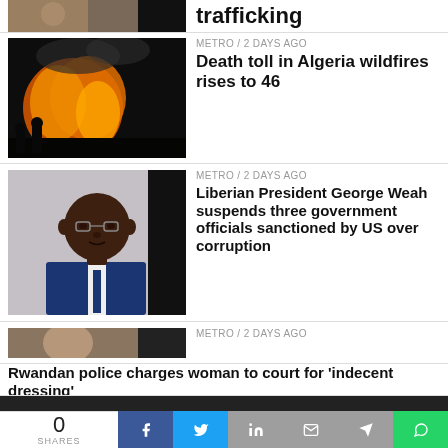[Figure (photo): Partially visible thumbnail of a news story at the top (cropped), appears to be a crowd or outdoor scene]
trafficking
[Figure (photo): Photo of a wildfire with flames and people visible]
METRO / 2 days ago
Death toll in Algeria wildfires rises to 46
[Figure (photo): Portrait photo of Liberian President George Weah in a blue suit]
METRO / 2 days ago
Liberian President George Weah suspends three government officials sanctioned by US over corruption
[Figure (photo): Photo of a woman with raised arm, appears to be at a public event]
METRO / 2 days ago
Rwandan police charges woman to court for 'indecent dressing'
0 SHARES | Facebook | Twitter | LinkedIn | Mail | Telegram | WhatsApp